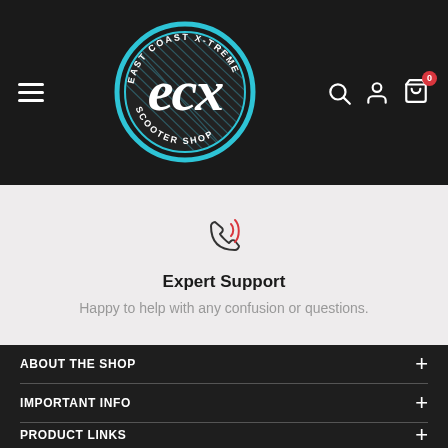[Figure (logo): ECX East Coast X-Treme Scooter Shop circular logo with teal/blue circle outline and stylized 'ecx' lettering in white on dark background]
[Figure (illustration): Phone icon with signal waves, outlined in dark color on light grey background]
Expert Support
Happy to help with any confusion or questions.
ABOUT THE SHOP
IMPORTANT INFO
PRODUCT LINKS